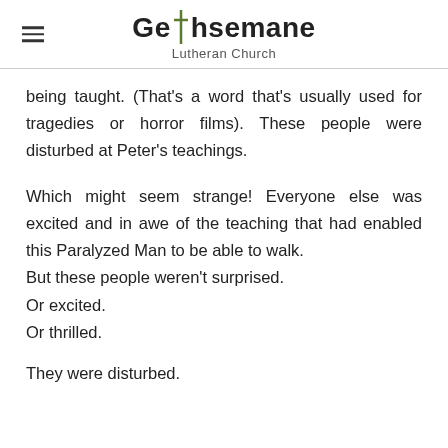Gethsemane Lutheran Church
being taught. (That’s a word that’s usually used for tragedies or horror films). These people were disturbed at Peter’s teachings.
Which might seem strange! Everyone else was excited and in awe of the teaching that had enabled this Paralyzed Man to be able to walk. But these people weren’t surprised. Or excited. Or thrilled.
They were disturbed.